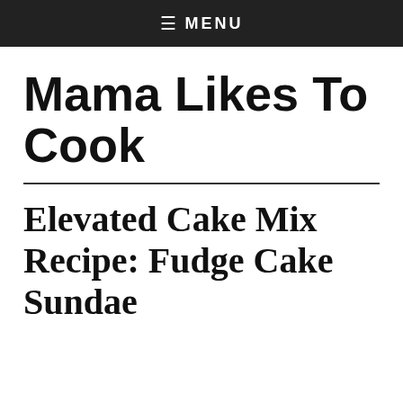≡ MENU
Mama Likes To Cook
Elevated Cake Mix Recipe: Fudge Cake Sundae